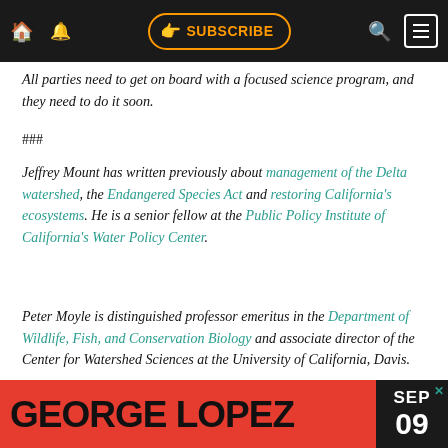SUBSCRIBE navigation bar
All parties need to get on board with a focused science program, and they need to do it soon.
###
Jeffrey Mount has written previously about management of the Delta watershed, the Endangered Species Act and restoring California’s ecosystems. He is a senior fellow at the Public Policy Institute of California’s Water Policy Center.
Peter Moyle is distinguished professor emeritus in the Department of Wildlife, Fish, and Conservation Biology and associate director of the Center for Watershed Sciences at the University of California, Davis.
[Figure (other): George Lopez advertisement banner with red background and date SEP 09]